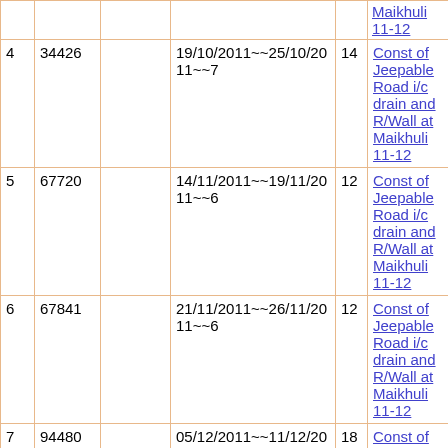|  |  |  |  |  |  |
| --- | --- | --- | --- | --- | --- |
| 4 | 34426 |  | 19/10/2011~~25/10/2011~~7 | 14 | Const of Jeepable Road i/c drain and R/Wall at Maikhuli 11-12 |
| 5 | 67720 |  | 14/11/2011~~19/11/2011~~6 | 12 | Const of Jeepable Road i/c drain and R/Wall at Maikhuli 11-12 |
| 6 | 67841 |  | 21/11/2011~~26/11/2011~~6 | 12 | Const of Jeepable Road i/c drain and R/Wall at Maikhuli 11-12 |
| 7 | 94480 |  | 05/12/2011~~11/12/2011~~7 | 18 | Const of Jeepable Road i/c drain and R/Wall at Maikhuli 11-12 |
| 8 | 94687 |  | 09/01/2012~~15/01/2012~~7 | 18 | Const of Jeepable Road i/c drain and R/Wall at Maikhuli 11-12 |
| 9 | 94764 |  | 16/01/2012~~22/01/2012~~7 | 18 | Const of Jeepable Road |